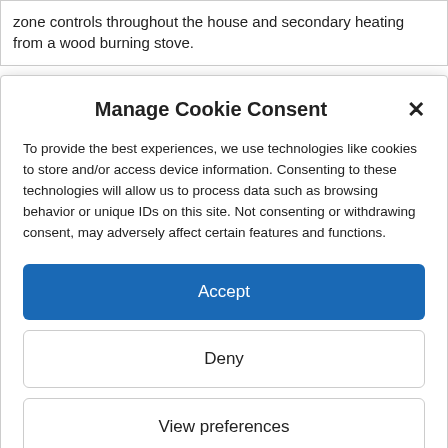zone controls throughout the house and secondary heating from a wood burning stove.
Manage Cookie Consent
To provide the best experiences, we use technologies like cookies to store and/or access device information. Consenting to these technologies will allow us to process data such as browsing behavior or unique IDs on this site. Not consenting or withdrawing consent, may adversely affect certain features and functions.
Accept
Deny
View preferences
Cookie Policy